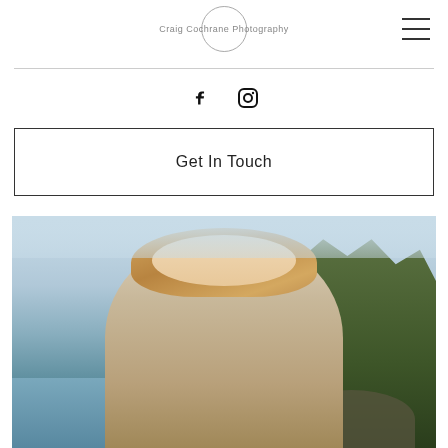Craig Cochrane Photography
[Figure (photo): Portrait photo of a smiling blonde woman standing outdoors at a beach/waterfront location with trees and rocky shoreline in the background, wearing a light-colored patterned top.]